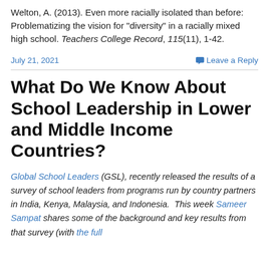Welton, A. (2013). Even more racially isolated than before: Problematizing the vision for “diversity” in a racially mixed high school. Teachers College Record, 115(11), 1-42.
July 21, 2021
Leave a Reply
What Do We Know About School Leadership in Lower and Middle Income Countries?
Global School Leaders (GSL), recently released the results of a survey of school leaders from programs run by country partners in India, Kenya, Malaysia, and Indonesia.  This week Sameer Sampat shares some of the background and key results from that survey (with the full